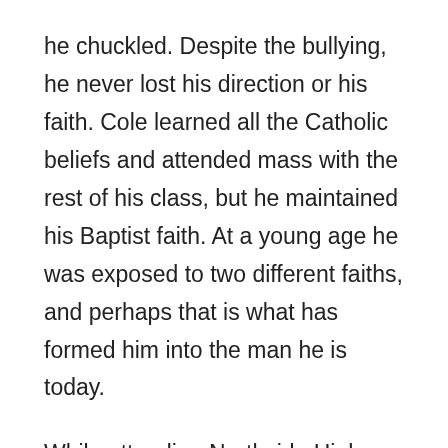he chuckled. Despite the bullying, he never lost his direction or his faith. Cole learned all the Catholic beliefs and attended mass with the rest of his class, but he maintained his Baptist faith. At a young age he was exposed to two different faiths, and perhaps that is what has formed him into the man he is today.
While attending Northside High School in Fort Smith, Arkansas, where his is athletic passions of basketball and football met a breaking point, and he had to decide one over the other. He chose football.